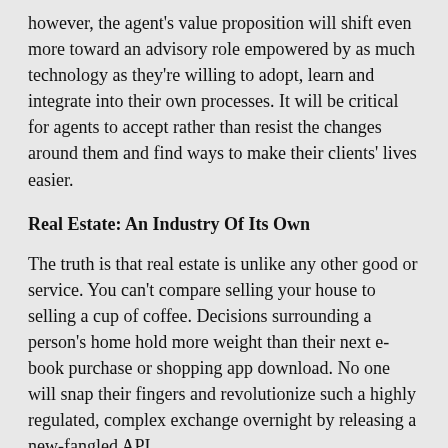however, the agent's value proposition will shift even more toward an advisory role empowered by as much technology as they're willing to adopt, learn and integrate into their own processes. It will be critical for agents to accept rather than resist the changes around them and find ways to make their clients' lives easier.
Real Estate: An Industry Of Its Own
The truth is that real estate is unlike any other good or service. You can't compare selling your house to selling a cup of coffee. Decisions surrounding a person's home hold more weight than their next e-book purchase or shopping app download. No one will snap their fingers and revolutionize such a highly regulated, complex exchange overnight by releasing a new-fangled API.
Evolution in this space will come as a series of baby steps, gradual tweaks and solutions that will